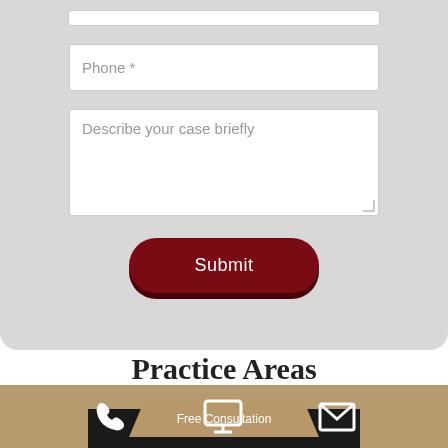[Figure (screenshot): Web form section with phone input field, case description textarea, and submit button on gray background]
Practice Areas
Free Consultation